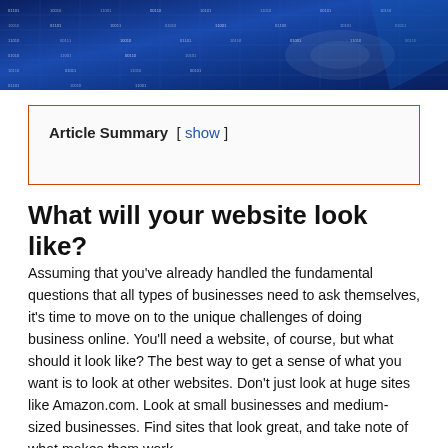[Figure (photo): Blue tech banner with digital data grid background, dark blue tones with white text patterns]
Article Summary [ show ]
What will your website look like?
Assuming that you've already handled the fundamental questions that all types of businesses need to ask themselves, it's time to move on to the unique challenges of doing business online. You'll need a website, of course, but what should it look like? The best way to get a sense of what you want is to look at other websites. Don't just look at huge sites like Amazon.com. Look at small businesses and medium-sized businesses. Find sites that look great, and take note of what makes them work.